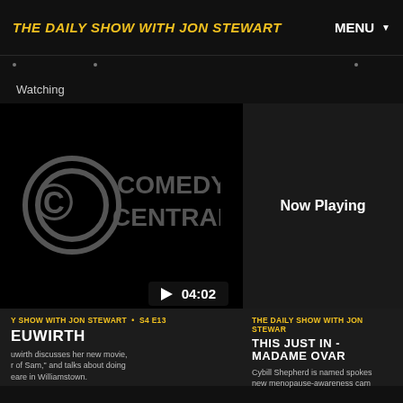THE DAILY SHOW WITH JON STEWART  MENU
Watching
[Figure (screenshot): Comedy Central logo on black background video thumbnail with play button showing 04:02]
Now Playing
Y SHOW WITH JON STEWART • S4 E13
EUWIRTH
uwirth discusses her new movie, r of Sam," and talks about doing eare in Williamstown.
THE DAILY SHOW WITH JON STEWAR
THIS JUST IN - MADAME OVAR
Cybill Shepherd is named spokes new menopause-awareness cam